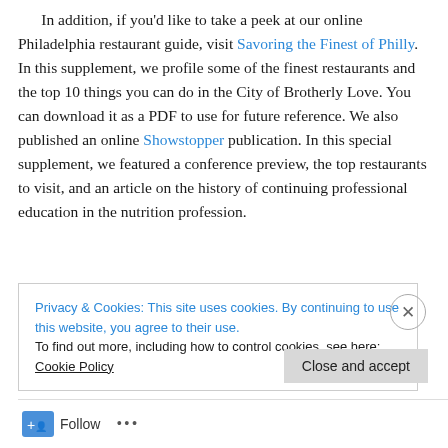In addition, if you'd like to take a peek at our online Philadelphia restaurant guide, visit Savoring the Finest of Philly. In this supplement, we profile some of the finest restaurants and the top 10 things you can do in the City of Brotherly Love. You can download it as a PDF to use for future reference. We also published an online Showstopper publication. In this special supplement, we featured a conference preview, the top restaurants to visit, and an article on the history of continuing professional education in the nutrition profession.
Privacy & Cookies: This site uses cookies. By continuing to use this website, you agree to their use. To find out more, including how to control cookies, see here: Cookie Policy